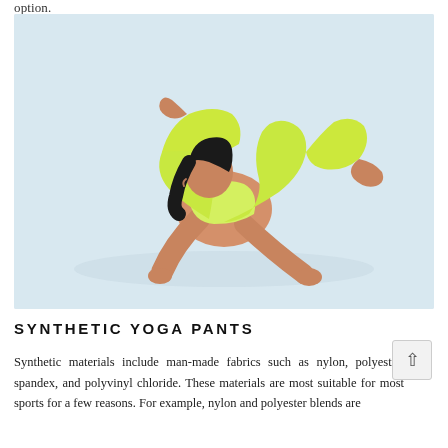option.
[Figure (photo): Woman in yellow-green yoga outfit performing a stretching pose on a light blue-grey background. She is on hands and knees with legs raised and bent behind her, reaching back.]
SYNTHETIC YOGA PANTS
Synthetic materials include man-made fabrics such as nylon, polyester, spandex, and polyvinyl chloride. These materials are most suitable for most sports for a few reasons. For example, nylon and polyester blends are